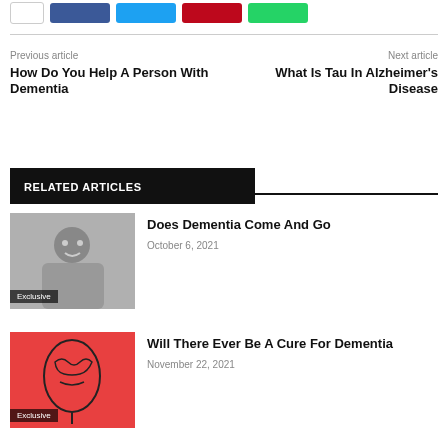[Figure (other): Social share buttons: white, Facebook blue, Twitter cyan, Pinterest red, WhatsApp green]
Previous article
How Do You Help A Person With Dementia
Next article
What Is Tau In Alzheimer's Disease
RELATED ARTICLES
[Figure (photo): Elderly woman smiling, seated indoors, with Exclusive badge]
Does Dementia Come And Go
October 6, 2021
[Figure (photo): Medical illustration of human head/brain on red background, with Exclusive badge]
Will There Ever Be A Cure For Dementia
November 22, 2021